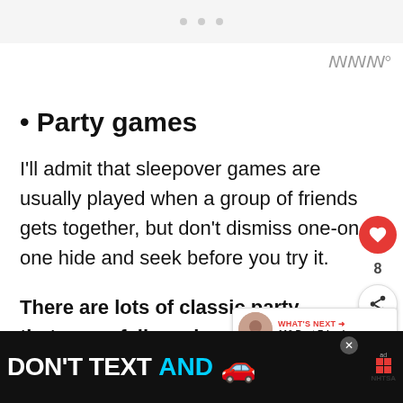• Party games
I'll admit that sleepover games are usually played when a group of friends gets together, but don't dismiss one-on-one hide and seek before you try it.
There are lots of classic party games that never fail, such as Truth or Dare, Charades, Two Truths and A Lie,
[Figure (infographic): Advertisement banner at the bottom: DON'T TEXT AND [car emoji] with NHTSA branding]
[Figure (infographic): "What's Next" promotional card showing 110 Best Friend...]